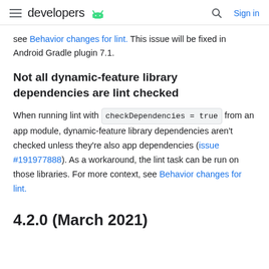developers (android logo) | Search | Sign in
see Behavior changes for lint. This issue will be fixed in Android Gradle plugin 7.1.
Not all dynamic-feature library dependencies are lint checked
When running lint with checkDependencies = true from an app module, dynamic-feature library dependencies aren't checked unless they're also app dependencies (issue #191977888). As a workaround, the lint task can be run on those libraries. For more context, see Behavior changes for lint.
4.2.0 (March 2021)